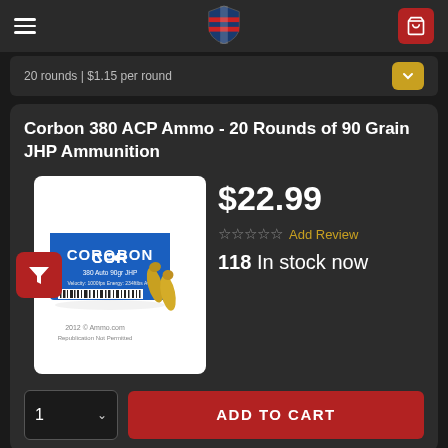Navigation bar with hamburger menu, shield logo, and cart icon
20 rounds | $1.15 per round
Corbon 380 ACP Ammo - 20 Rounds of 90 Grain JHP Ammunition
[Figure (photo): Corbon 380 Auto 90gr JHP ammunition box with two loose rounds in front, on white background]
$22.99
☆☆☆☆☆ Add Review
118 In stock now
1  ADD TO CART
20 Rounds  |  $1.15 per round